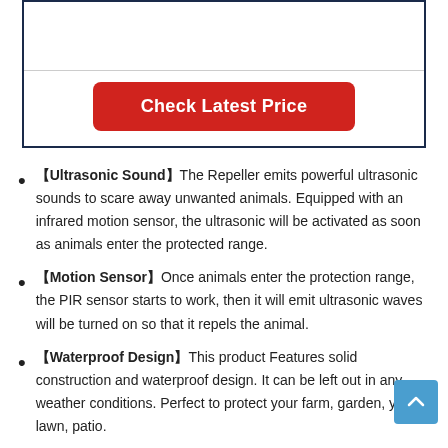[Figure (other): Product image box with a horizontal divider line and a red 'Check Latest Price' button below the divider]
【Ultrasonic Sound】The Repeller emits powerful ultrasonic sounds to scare away unwanted animals. Equipped with an infrared motion sensor, the ultrasonic will be activated as soon as animals enter the protected range.
【Motion Sensor】Once animals enter the protection range, the PIR sensor starts to work, then it will emit ultrasonic waves will be turned on so that it repels the animal.
【Waterproof Design】This product Features solid construction and waterproof design. It can be left out in any weather conditions. Perfect to protect your farm, garden, yard, lawn, patio.